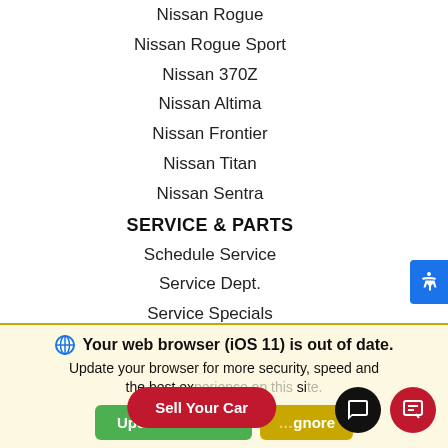Nissan Rogue
Nissan Rogue Sport
Nissan 370Z
Nissan Altima
Nissan Frontier
Nissan Titan
Nissan Sentra
SERVICE & PARTS
Schedule Service
Service Dept.
Service Specials
Parts Specials
Nissan Brakes
Nissan Battery
Nissan Parts
Nissan Service
Nissan Oil Change
Your web browser (iOS 11) is out of date. Update your browser for more security, speed and the best experience on this site.